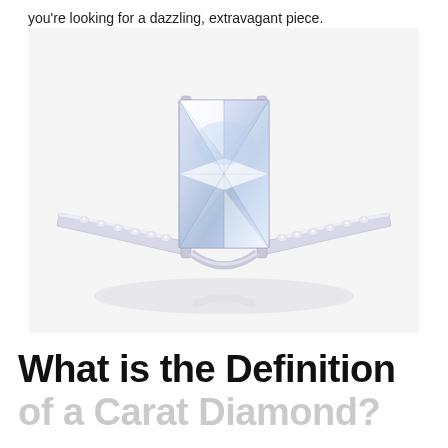you're looking for a dazzling, extravagant piece.
[Figure (photo): Close-up photo of a diamond solitaire engagement ring with a large princess-cut center diamond set in a four-prong silver/white-gold setting, with a pavé diamond band, on a white background.]
What is the Definition of a Carat Diamond?